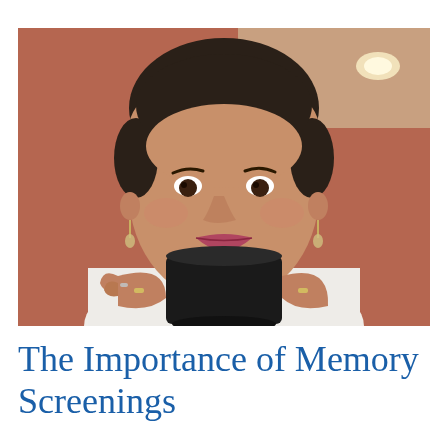[Figure (photo): An older Hispanic woman with short dark hair holding a dark mug close to her chin with both hands, looking upward thoughtfully. She wears earrings and rings, and a white top. Background is warm reddish-brown with a light visible in the upper right corner.]
The Importance of Memory Screenings